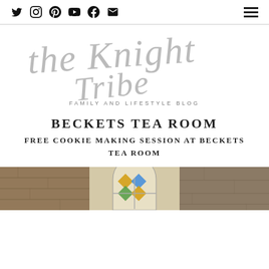Social icons: Twitter, Instagram, Pinterest, YouTube, Facebook, Email | Hamburger menu
[Figure (logo): The Knight Tribe handwritten script logo with 'FAMILY AND LIFESTYLE BLOG' tagline]
BECKETS TEA ROOM
FREE COOKIE MAKING SESSION AT BECKETS TEA ROOM
[Figure (photo): Partial photo of Beckets Tea Room interior showing stone walls and stained glass window]